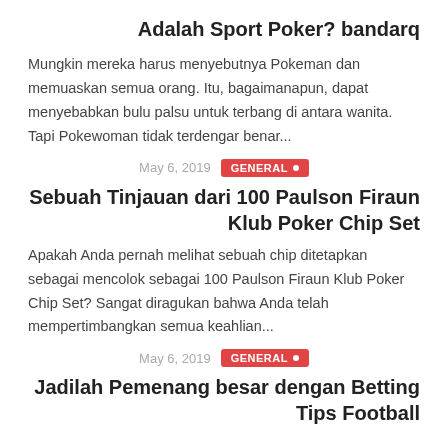Adalah Sport Poker? bandarq
Mungkin mereka harus menyebutnya Pokeman dan memuaskan semua orang. Itu, bagaimanapun, dapat menyebabkan bulu palsu untuk terbang di antara wanita. Tapi Pokewoman tidak terdengar benar...
May 6, 2019  GENERAL •
Sebuah Tinjauan dari 100 Paulson Firaun Klub Poker Chip Set
Apakah Anda pernah melihat sebuah chip ditetapkan sebagai mencolok sebagai 100 Paulson Firaun Klub Poker Chip Set? Sangat diragukan bahwa Anda telah mempertimbangkan semua keahlian...
May 6, 2019  GENERAL •
Jadilah Pemenang besar dengan Betting Tips Football